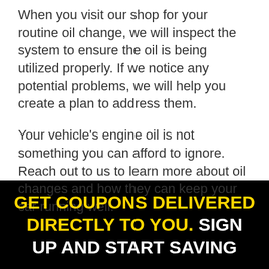When you visit our shop for your routine oil change, we will inspect the system to ensure the oil is being utilized properly. If we notice any potential problems, we will help you create a plan to address them.
Your vehicle's engine oil is not something you can afford to ignore. Reach out to us to learn more about oil changes and how they can keep your car running well.
GET COUPONS DELIVERED DIRECTLY TO YOU. SIGN UP AND START SAVING